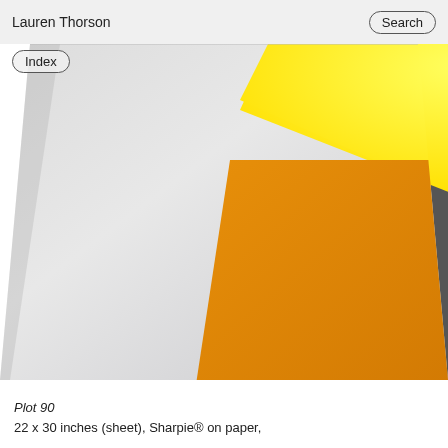Lauren Thorson   Search
Index
[Figure (photo): Close-up photograph of a white paper sheet with two overlapping colored rectangles: a bright yellow rectangle in the upper portion and a large orange/amber rectangle below and partially overlapping the yellow one, photographed at an angle.]
Plot 90
22 x 30 inches (sheet), Sharpie® on paper,